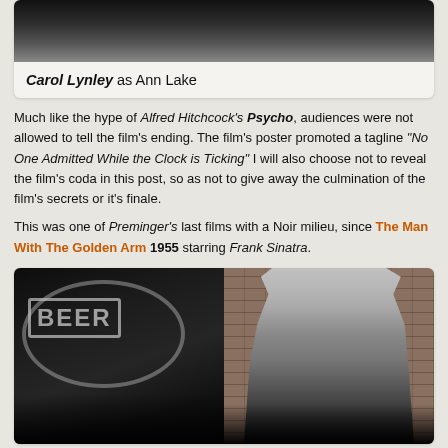[Figure (photo): Black and white photo strip at top, partial view of a person]
Carol Lynley as Ann Lake
Much like the hype of Alfred Hitchcock's Psycho, audiences were not allowed to tell the film's ending. The film's poster promoted a tagline "No One Admitted While the Clock is Ticking" I will also choose not to reveal the film's coda in this post, so as not to give away the culmination of the film's secrets or it's finale.
This was one of Preminger's last films with a Noir milieu, since The Man With The Golden Arm 1955 starring Frank Sinatra.
[Figure (photo): Black and white split photo: left side shows a BEER neon sign, right side shows a bald man in a white shirt and dark tie standing against a brick wall]